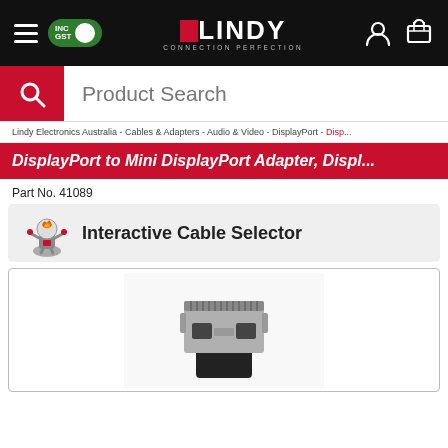LINDY CONNECTION PERFECTION — INC GST
Product Search
Lindy Electronics Australia - Cables & Adapters - Audio & Video - DisplayPort - Disp...
DisplayPort to Mini DisplayPort Adapter, Displ...
Part No. 41089
[Figure (infographic): Interactive Cable Selector banner with mascot robot character on left and bold text on right]
[Figure (photo): Close-up photo of a DisplayPort to Mini DisplayPort adapter connector, metallic silver/black, top view]